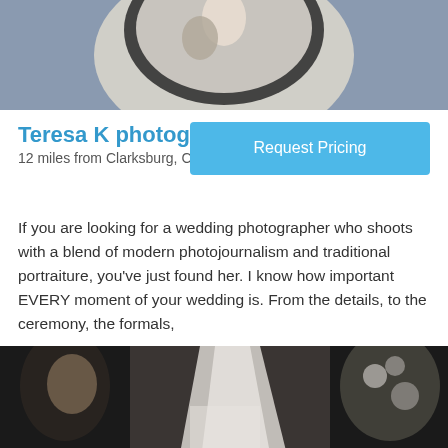[Figure (photo): Top portion of a wedding photo showing a bird's eye view of a couple, partially visible, with a dark circular mirror or frame.]
Teresa K photography
12 miles from Clarksburg, CA
Request Pricing
If you are looking for a wedding photographer who shoots with a blend of modern photojournalism and traditional portraiture, you've just found her. I know how important EVERY moment of your wedding is. From the details, to the ceremony, the formals,
[Figure (photo): A bride wearing a white wedding dress and long veil, photographed from behind in a dark, moody setting with flowers visible in the background.]